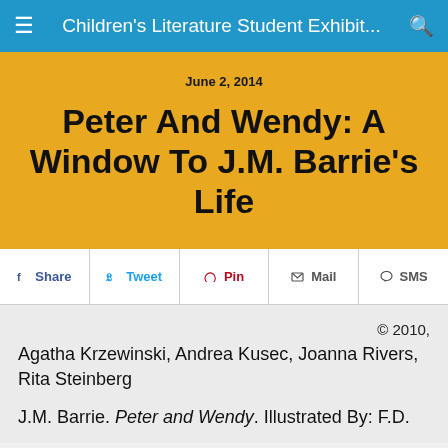Children's Literature Student Exhibit...
June 2, 2014
Peter And Wendy: A Window To J.M. Barrie's Life
Share  Tweet  Pin  Mail  SMS
© 2010,
Agatha Krzewinski, Andrea Kusec, Joanna Rivers, Rita Steinberg
J.M. Barrie. Peter and Wendy. Illustrated By: F.D.